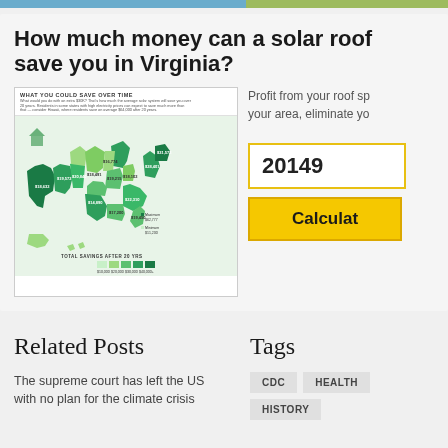How much money can a solar roof save you in Virginia?
[Figure (map): US map infographic titled 'What You Could Save Over Time' showing solar savings by state in shades of green with dollar amounts labeled on each state]
Profit from your roof space, eliminate your energy bills in your area, eliminate you
20149
Calculate
Related Posts
Tags
The supreme court has left the US with no plan for the climate crisis
CDC
HEALTH
HISTORY